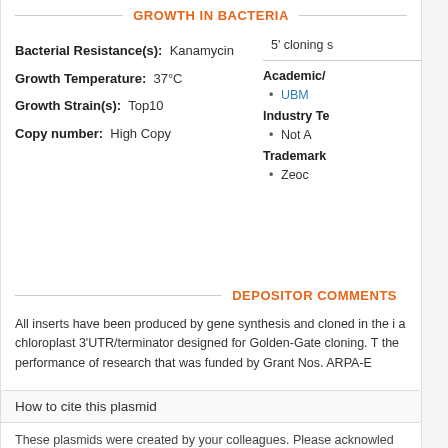GROWTH IN BACTERIA
Bacterial Resistance(s): Kanamycin
Growth Temperature: 37°C
Growth Strain(s): Top10
Copy number: High Copy
5' cloning s
Academic/
UBM
Industry Te
Not A
Trademark
Zeoc
DEPOSITOR COMMENTS
All inserts have been produced by gene synthesis and cloned in the i a chloroplast 3'UTR/terminator designed for Golden-Gate cloning. T the performance of research that was funded by Grant Nos. ARPA-E
How to cite this plasmid
These plasmids were created by your colleagues. Please acknowled article in which the plasmids were described, and include Addgene in